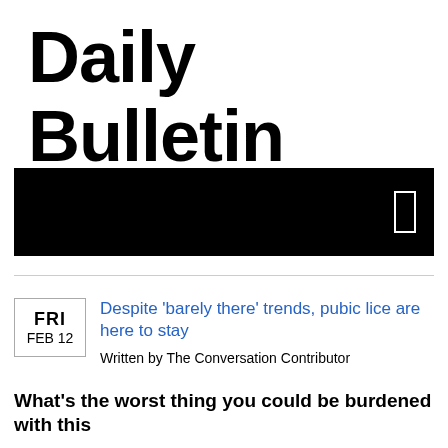Daily Bulletin
[Figure (other): Black navigation/banner bar with a small white rectangle outline on the right side]
Despite 'barely there' trends, pubic lice are here to stay
Written by The Conversation Contributor
What's the worst thing you could be burdened with this